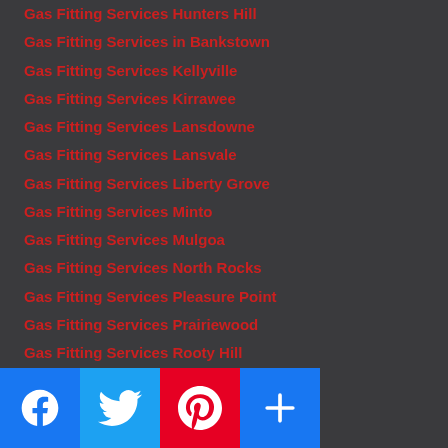Gas Fitting Services Hunters Hill
Gas Fitting Services in Bankstown
Gas Fitting Services Kellyville
Gas Fitting Services Kirrawee
Gas Fitting Services Lansdowne
Gas Fitting Services Lansvale
Gas Fitting Services Liberty Grove
Gas Fitting Services Minto
Gas Fitting Services Mulgoa
Gas Fitting Services North Rocks
Gas Fitting Services Pleasure Point
Gas Fitting Services Prairiewood
Gas Fitting Services Rooty Hill
Gas Fitting Services Seven Hills
Gas Fitting Services Silverwater
Gas Fitting Services Villawood
Gas Fitting Services Winston Hill
Gas Fitting Services Woodcroft
Gas Fitting Services ...osby
[Figure (other): Social sharing buttons bar: Facebook (blue), Twitter (blue), Pinterest (red), More/Add (blue) icons at bottom of page]